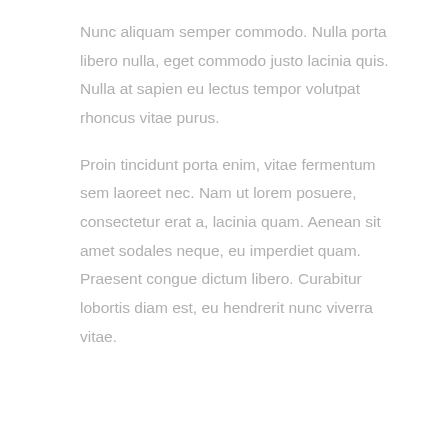Nunc aliquam semper commodo. Nulla porta libero nulla, eget commodo justo lacinia quis. Nulla at sapien eu lectus tempor volutpat rhoncus vitae purus.
Proin tincidunt porta enim, vitae fermentum sem laoreet nec. Nam ut lorem posuere, consectetur erat a, lacinia quam. Aenean sit amet sodales neque, eu imperdiet quam. Praesent congue dictum libero. Curabitur lobortis diam est, eu hendrerit nunc viverra vitae.